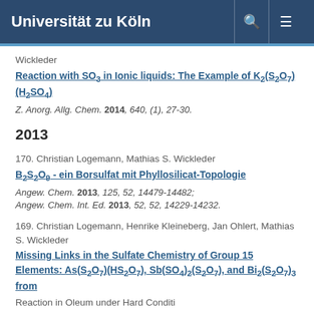Universität zu Köln
Wickleder
Reaction with SO3 in Ionic liquids: The Example of K2(S2O7)(H2SO4)
Z. Anorg. Allg. Chem. 2014, 640, (1), 27-30.
2013
170. Christian Logemann, Mathias S. Wickleder
B2S2O9 - ein Borsulfat mit Phyllosilicat-Topologie
Angew. Chem. 2013, 125, 52, 14479-14482; Angew. Chem. Int. Ed. 2013, 52, 52, 14229-14232.
169. Christian Logemann, Henrike Kleineberg, Jan Ohlert, Mathias S. Wickleder
Missing Links in the Sulfate Chemistry of Group 15 Elements: As(S2O7)(HS2O7), Sb(SO4)2(S2O7), and Bi2(S2O7)3 from Reaction in Oleum under Hard Conditions